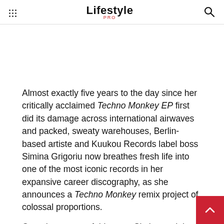Lifestyle PRO
Almost exactly five years to the day since her critically acclaimed Techno Monkey EP first did its damage across international airwaves and packed, sweaty warehouses, Berlin-based artiste and Kuukou Records label boss Simina Grigoriu now breathes fresh life into one of the most iconic records in her expansive career discography, as she announces a Techno Monkey remix project of colossal proportions.
Over the course of this year, Simina and the Kuukou Recor